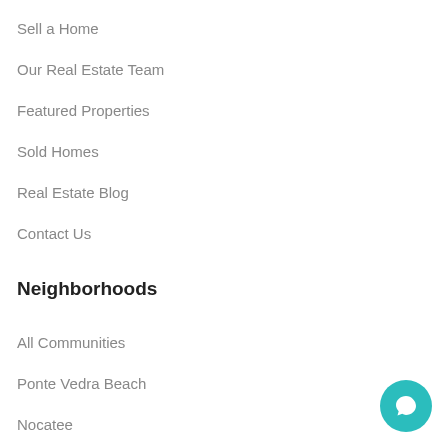Sell a Home
Our Real Estate Team
Featured Properties
Sold Homes
Real Estate Blog
Contact Us
Neighborhoods
All Communities
Ponte Vedra Beach
Nocatee
[Figure (illustration): Teal circular chat button with a speech bubble icon in the bottom-right corner]